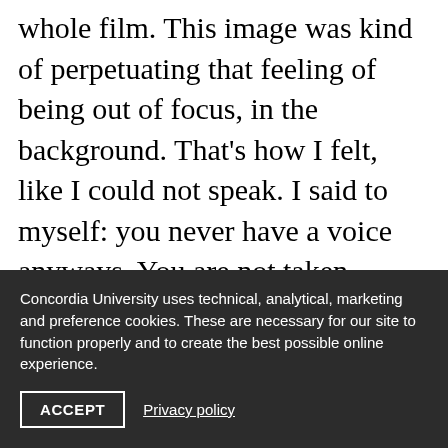whole film. This image was kind of perpetuating that feeling of being out of focus, in the background. That's how I felt, like I could not speak. I said to myself: you never have a voice anyways. You are not taken seriously. Here is this white man making movies about people of color. Yet the woman is still silenced. Why would my opinion
Concordia University uses technical, analytical, marketing and preference cookies. These are necessary for our site to function properly and to create the best possible online experience.
ACCEPT
Privacy policy